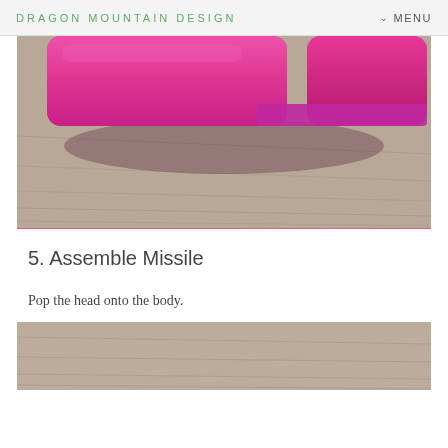DRAGON MOUNTAIN DESIGN   MENU
[Figure (photo): Close-up photo of pink/magenta plastic missile or toy parts resting on a wooden floor, showing cylindrical body and cap pieces from below]
5. Assemble Missile
Pop the head onto the body.
[Figure (photo): Partial photo of a wooden floor surface, bottom portion of the missile assembly photo]